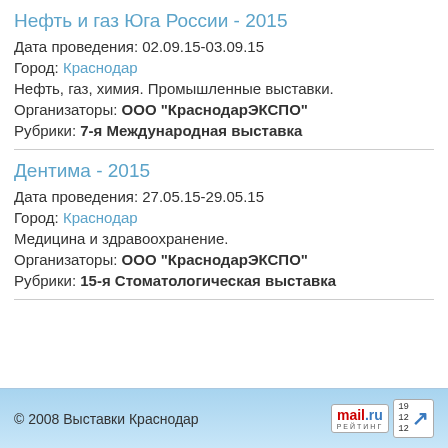Нефть и газ Юга России - 2015
Дата проведения: 02.09.15-03.09.15
Город: Краснодар
Нефть, газ, химия. Промышленные выставки.
Организаторы: ООО "КраснодарЭКСПО"
Рубрики: 7-я Международная выставка
Дентима - 2015
Дата проведения: 27.05.15-29.05.15
Город: Краснодар
Медицина и здравоохранение.
Организаторы: ООО "КраснодарЭКСПО"
Рубрики: 15-я Стоматологическая выставка
© 2008 Выставки Краснодар